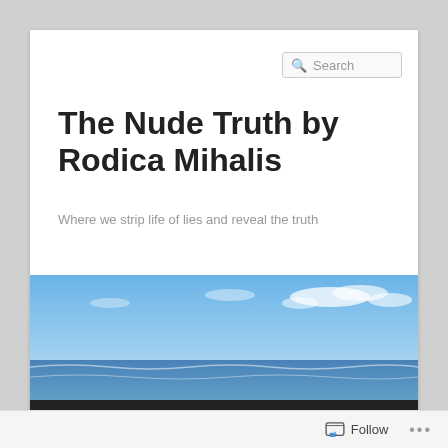Search
The Nude Truth by Rodica Mihalis
Where we strip life of lies and reveal the truth
[Figure (photo): Beach scene with blue sky, ocean waves, and sandy shore]
Home   About Rodica
← Previous   Next →
Follow ...